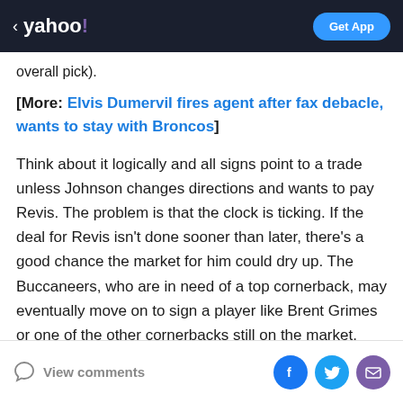< yahoo! | Get App
overall pick).
[More: Elvis Dumervil fires agent after fax debacle, wants to stay with Broncos]
Think about it logically and all signs point to a trade unless Johnson changes directions and wants to pay Revis. The problem is that the clock is ticking. If the deal for Revis isn't done sooner than later, there's a good chance the market for him could dry up. The Buccaneers, who are in need of a top cornerback, may eventually move on to sign a player like Brent Grimes or one of the other cornerbacks still on the market.
View comments